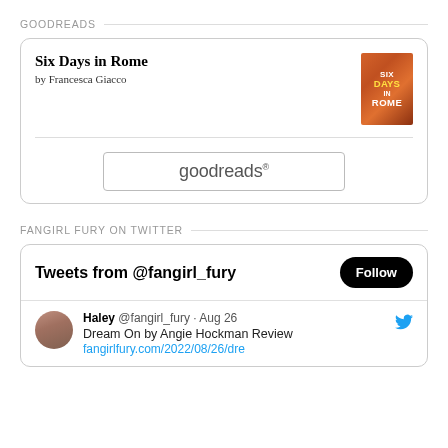GOODREADS
[Figure (screenshot): Goodreads widget card showing book 'Six Days in Rome' by Francesca Giacco with book cover image and a goodreads button]
FANGIRL FURY ON TWITTER
[Figure (screenshot): Twitter widget showing 'Tweets from @fangirl_fury' with Follow button and a tweet by Haley @fangirl_fury dated Aug 26 about 'Dream On by Angie Hockman Review' with link fangirlfury.com/2022/08/26/dre]